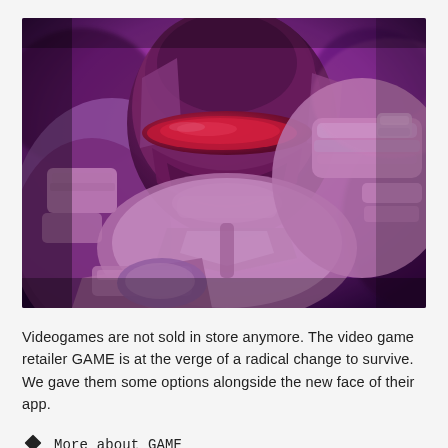[Figure (photo): Close-up of a video game character in futuristic armor (resembling Halo's Master Chief), with a purple/magenta color tint overlay. The armored figure is shown from the shoulders up, wearing a detailed helmet with a dark visor, and holding a weapon.]
Videogames are not sold in store anymore. The video game retailer GAME is at the verge of a radical change to survive. We gave them some options alongside the new face of their app.
◆ More about GAME